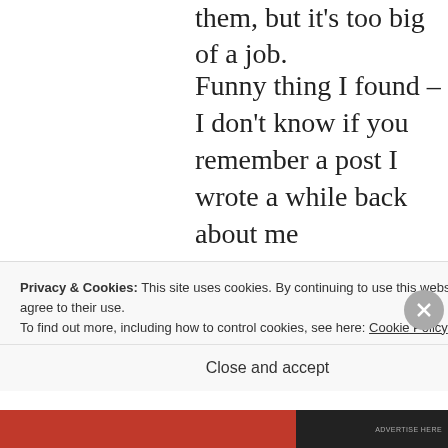them, but it's too big of a job.
Funny thing I found – I don't know if you remember a post I wrote a while back about me participating in a water ballet show when I was a kid and being embarrassed about my “grass skirt” made out of burlan. It was too long and
Privacy & Cookies: This site uses cookies. By continuing to use this website, you agree to their use.
To find out more, including how to control cookies, see here: Cookie Policy
Close and accept